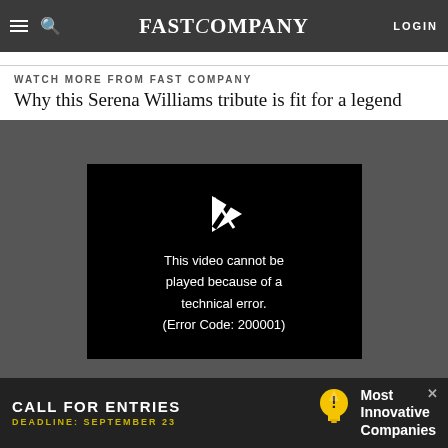FAST COMPANY | LOGIN
musicians who make, on average, 80% of their revenue on conc...
WATCH MORE FROM FAST COMPANY
Why this Serena Williams tribute is fit for a legend
[Figure (screenshot): Video player showing error message: 'This video cannot be played because of a technical error. (Error Code: 200001)']
[Figure (infographic): Advertisement banner: 'CALL FOR ENTRIES DEADLINE: SEPTEMBER 23 | Most Innovative Companies' with lightbulb icon]